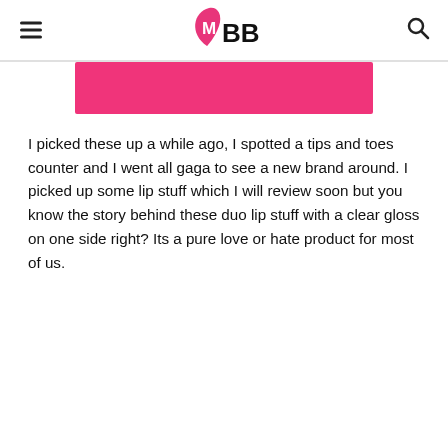IMBB
[Figure (other): Pink banner/button element]
I picked these up a while ago, I spotted a tips and toes counter and I went all gaga to see a new brand around. I picked up some lip stuff which I will review soon but you know the story behind these duo lip stuff with a clear gloss on one side right? Its a pure love or hate product for most of us.